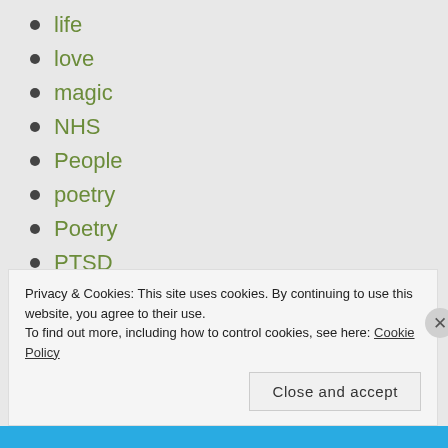life
love
magic
NHS
People
poetry
Poetry
PTSD
season
tribute
Uncategorized
Privacy & Cookies: This site uses cookies. By continuing to use this website, you agree to their use.
To find out more, including how to control cookies, see here: Cookie Policy
Close and accept